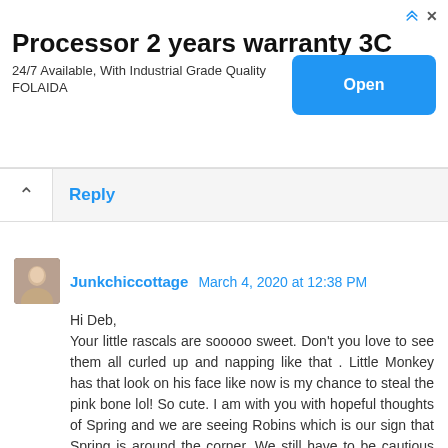[Figure (screenshot): Advertisement banner: 'Processor 2 years warranty 3C', '24/7 Available, With Industrial Grade Quality', 'FOLAIDA', with an 'Open' button]
Reply
Junkchiccottage  March 4, 2020 at 12:38 PM
Hi Deb,
Your little rascals are sooooo sweet. Don't you love to see them all curled up and napping like that . Little Monkey has that look on his face like now is my chance to steal the pink bone lol! So cute. I am with you with hopeful thoughts of Spring and we are seeing Robins which is our sign that Spring is around the corner. We still have to be cautious here in the midwest for the dreaded snow can still fall for the next couple of months. Lately it has been mild and no snow and lots of sunshine so we will take it. Have a great rest of the week.
Hugs,
Kris